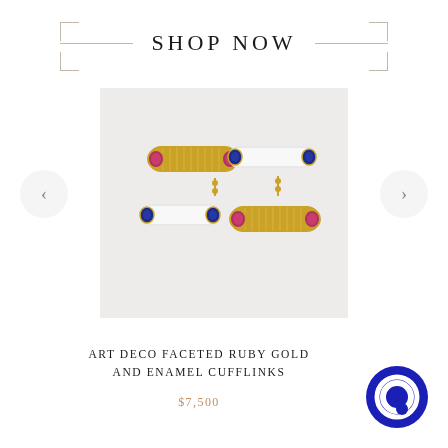SHOP NOW
[Figure (photo): Art Deco cufflinks: two pairs of gold and white enamel bar cufflinks with ruby and sapphire cabochon ends, photographed on a light grey background.]
ART DECO FACETED RUBY GOLD AND ENAMEL CUFFLINKS
$7,500